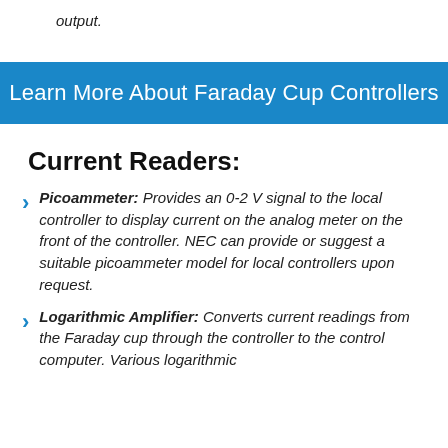output.
Learn More About Faraday Cup Controllers
Current Readers:
Picoammeter: Provides an 0-2 V signal to the local controller to display current on the analog meter on the front of the controller. NEC can provide or suggest a suitable picoammeter model for local controllers upon request.
Logarithmic Amplifier: Converts current readings from the Faraday cup through the controller to the control computer. Various logarithmic